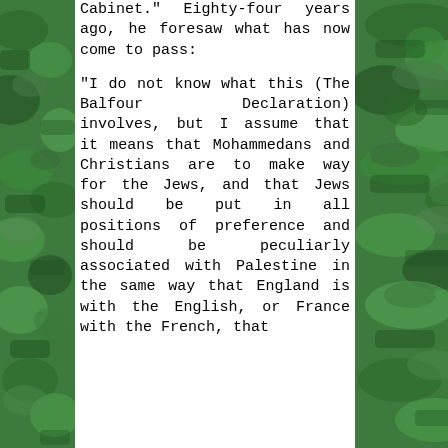[Figure (photo): Green-tinted nature/landscape photo strip on the left side of the page]
Cabinet." Eighty-four years ago, he foresaw what has now come to pass:

"I do not know what this (The Balfour Declaration) involves, but I assume that it means that Mohammedans and Christians are to make way for the Jews, and that Jews should be put in all positions of preference and should be peculiarly associated with Palestine in the same way that England is with the English, or France with the French, that
[Figure (photo): Green-tinted nature/landscape photo strip on the right side of the page]